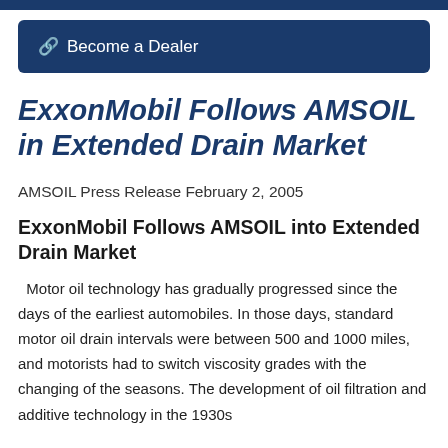🔗  Become a Dealer
ExxonMobil Follows AMSOIL in Extended Drain Market
AMSOIL Press Release February 2, 2005
ExxonMobil Follows AMSOIL into Extended Drain Market
Motor oil technology has gradually progressed since the days of the earliest automobiles. In those days, standard motor oil drain intervals were between 500 and 1000 miles, and motorists had to switch viscosity grades with the changing of the seasons. The development of oil filtration and additive technology in the 1930s